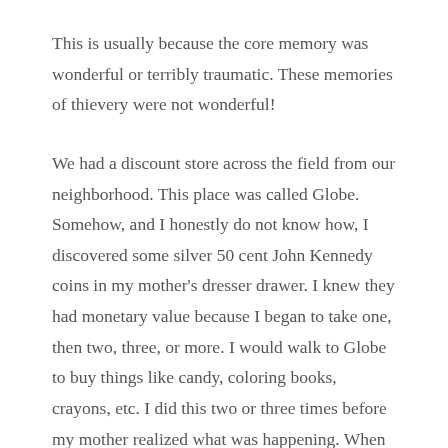This is usually because the core memory was wonderful or terribly traumatic. These memories of thievery were not wonderful!
We had a discount store across the field from our neighborhood. This place was called Globe. Somehow, and I honestly do not know how, I discovered some silver 50 cent John Kennedy coins in my mother's dresser drawer. I knew they had monetary value because I began to take one, then two, three, or more. I would walk to Globe to buy things like candy, coloring books, crayons, etc. I did this two or three times before my mother realized what was happening. When she did find out what I was doing, she went berserk. My mother adored John Kennedy, but I didn't know how important these coins were to her. She had every right to be angry and, believe me, I got it! I felt so badly afterwards that when I had a dollar bill, I put it in the same spot in her drawer